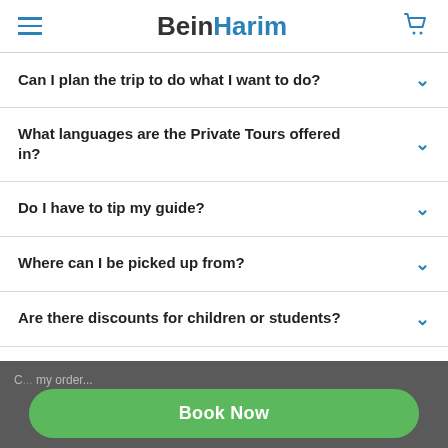BeinHarim
Can I plan the trip to do what I want to do?
What languages are the Private Tours offered in?
Do I have to tip my guide?
Where can I be picked up from?
Are there discounts for children or students?
Will I have time to buy souvenirs during the tour?
C... my order...
Book Now